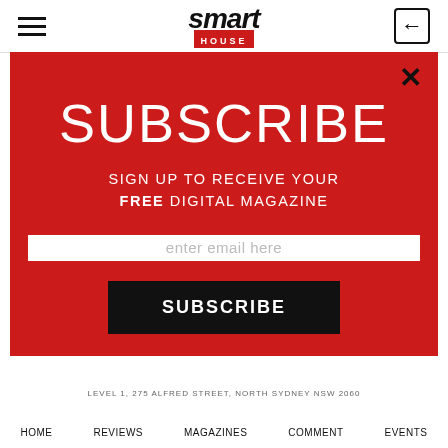smart HOUSE
[Figure (screenshot): Subscribe modal popup on Smart House magazine website with red background, showing SUBSCRIBE heading, sign up text, email input field, and subscribe button]
SUBSCRIBE
SIGN UP TO RECEIVE YOUR FREE DIGITAL MAGAZINE
enter email here
SUBSCRIBE
LEVEL 1, 275 ALFRED STREET, NORTH SYDNEY NSW 2060
HOME   REVIEWS   MAGAZINES   COMMENT   EVENTS